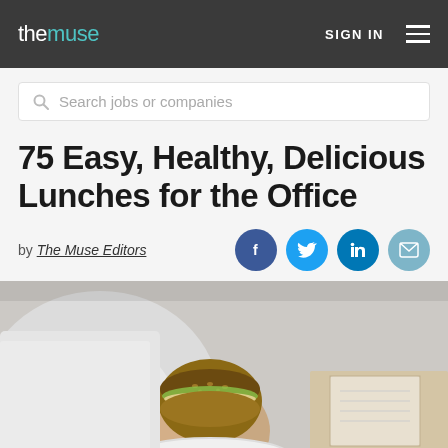the muse | SIGN IN
Search jobs or companies
75 Easy, Healthy, Delicious Lunches for the Office
by The Muse Editors
[Figure (photo): Person in white shirt holding a multigrain sandwich over a plate, with a notebook and pen visible in the background on a desk]